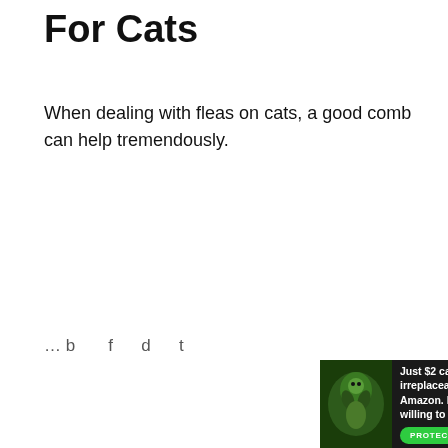For Cats
When dealing with fleas on cats, a good comb can help tremendously.
… b … f … d … th … th … d … d …
[Figure (photo): Advertisement banner for Amazon forest protection: 'Just $2 can protect 1 acre of irreplaceable forest homes in the Amazon. How many acres are you willing to protect?' with a green 'PROTECT FORESTS NOW' button and a rainforest animal photo.]